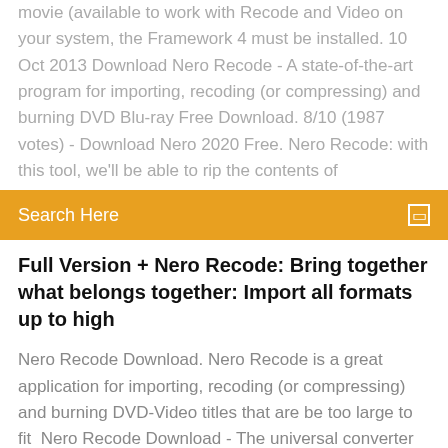movie (available to work with Recode and Video on your system, the Framework 4 must be installed. 10 Oct 2013 Download Nero Recode - A state-of-the-art program for importing, recoding (or compressing) and burning DVD Blu-ray Free Download. 8/10 (1987 votes) - Download Nero 2020 Free. Nero Recode: with this tool, we'll be able to rip the contents of
Search Here
Full Version + Nero Recode: Bring together what belongs together: Import all formats up to high
Nero Recode Download. Nero Recode is a great application for importing, recoding (or compressing) and burning DVD-Video titles that are be too large to fit  Nero Recode Download - The universal converter to convert and rip videos and music to all standard formats. Nero Recode 2019 Crack Free Download. Nero Recode 2019 Crack is a fantastic and comprehensive application that allows the user to burn a DVD or Blu-ray  7 Nov